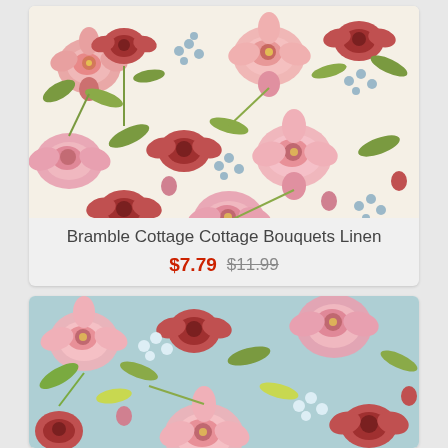[Figure (photo): Floral fabric swatch on cream/linen background with pink roses, red roses, blue accent flowers, and green leaves. Ruler strip at bottom edge.]
Bramble Cottage Cottage Bouquets Linen
$7.79 $11.99
[Figure (photo): Floral fabric swatch on light blue/teal background with pink roses, red roses, white accent flowers, and green leaves.]